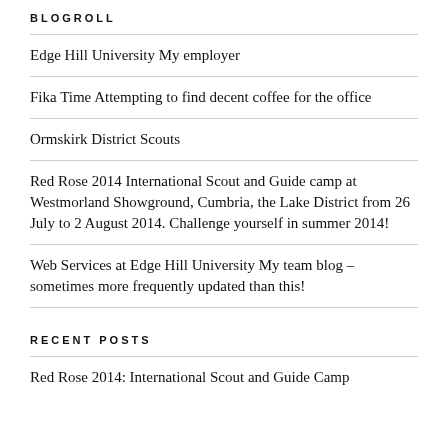BLOGROLL
Edge Hill University My employer
Fika Time Attempting to find decent coffee for the office
Ormskirk District Scouts
Red Rose 2014 International Scout and Guide camp at Westmorland Showground, Cumbria, the Lake District from 26 July to 2 August 2014. Challenge yourself in summer 2014!
Web Services at Edge Hill University My team blog – sometimes more frequently updated than this!
RECENT POSTS
Red Rose 2014: International Scout and Guide Camp